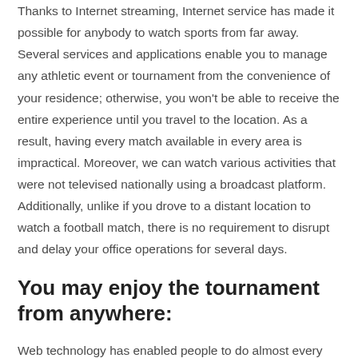Thanks to Internet streaming, Internet service has made it possible for anybody to watch sports from far away. Several services and applications enable you to manage any athletic event or tournament from the convenience of your residence; otherwise, you won't be able to receive the entire experience until you travel to the location. As a result, having every match available in every area is impractical. Moreover, we can watch various activities that were not televised nationally using a broadcast platform. Additionally, unlike if you drove to a distant location to watch a football match, there is no requirement to disrupt and delay your office operations for several days.
You may enjoy the tournament from anywhere:
Web technology has enabled people to do almost every internet activity, such as buying, taking classes, playing computer games, and viewing athletic events. You'll have to have an Android or